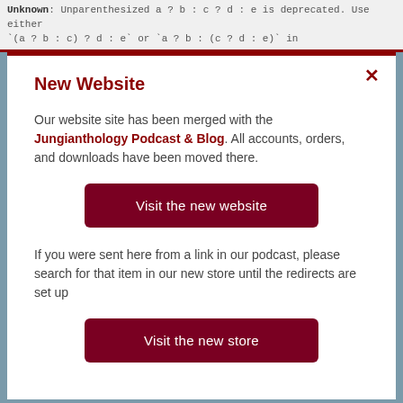Unknown: Unparenthesized `a ? b : c ? d : e` is deprecated. Use either `(a ? b : c) ? d : e` or `a ? b : (c ? d : e)` in
New Website
Our website site has been merged with the Jungianthology Podcast & Blog. All accounts, orders, and downloads have been moved there.
Visit the new website
If you were sent here from a link in our podcast, please search for that item in our new store until the redirects are set up
Visit the new store